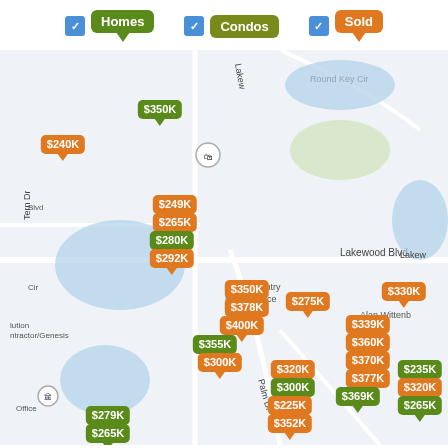[Figure (map): Real estate map showing home and condo listings with price pins in orange (homes/sold) and green (condos) around Lakewood Blvd area. Legend shows Homes (green pin), Condos (olive/green pin), Sold (orange pin) with blue checkboxes. Price pins visible: $350K, $240K, $249K, $265K, $280K, $292K, $350K, $378K, $400K, $355K, $300K, $275K, $330K, $339K, $360K, $370K, $377K, $369K, $320K, $300K, $225K, $352K, $235K, $320K, $265K, $279K, $265K, $300K]